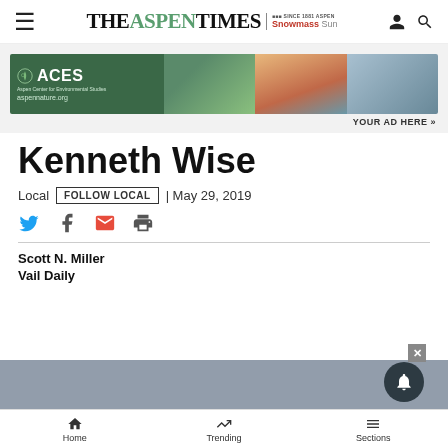THE ASPEN TIMES | Snowmass Sun
[Figure (photo): ACES (Aspen Center for Environmental Studies) advertisement banner with aspennature.org and nature/mountain photos]
YOUR AD HERE »
Kenneth Wise
Local | FOLLOW LOCAL | May 29, 2019
Scott N. Miller
Vail Daily